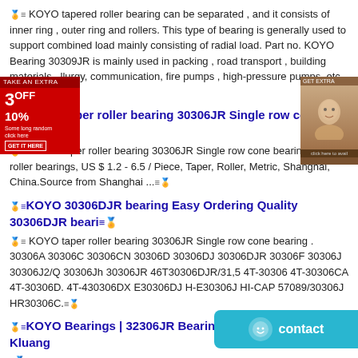🏅≡ KOYO tapered roller bearing can be separated , and it consists of inner ring , outer ring and rollers. This type of bearing is generally used to support combined load mainly consisting of radial load. Part no. KOYO Bearing 30309JR is mainly used in packing , road transport , building materials , llurgy, communication, fire pumps , high-pressure pumps, etc .≡🏅
[Figure (other): Red advertisement overlay showing '3OFF 10%' discount offer with 'TAKE AN EXTRA' text and a call-to-action button]
[Figure (photo): Brown/tan advertisement image showing a woman's face on the right side of the page]
🏅≡KOYO taper roller bearing 30306JR Single row cone bearing .≡🏅
🏅≡ KOYO taper roller bearing 30306JR Single row cone bearing best roller bearings, US $ 1.2 - 6.5 / Piece, Taper, Roller, Metric, Shanghai, China.Source from Shanghai ...≡🏅
🏅≡KOYO 30306DJR bearing Easy Ordering Quality 30306DJR beari≡🏅
🏅≡ KOYO taper roller bearing 30306JR Single row cone bearing . 30306A 30306C 30306CN 30306D 30306DJ 30306DJR 30306F 30306J 30306J2/Q 30306Jh 30306JR 46T30306DJR/31,5 4T-30306 4T-30306CA 4T-30306D. 4T-430306DX E30306DJ H-E30306J HI-CAP 57089/30306J HR30306C.≡🏅
🏅≡KOYO Bearings | 32306JR Bearing | Load Rating & Kluang ≡🏅
🏅≡ We are one of the best dealers for KOYO 32306JR b... understand the KOYO 32306JR Price,Dimensions,Specification,Supplier.
[Figure (other): Teal/cyan contact button with smiley face icon and 'contact' text, positioned bottom right]